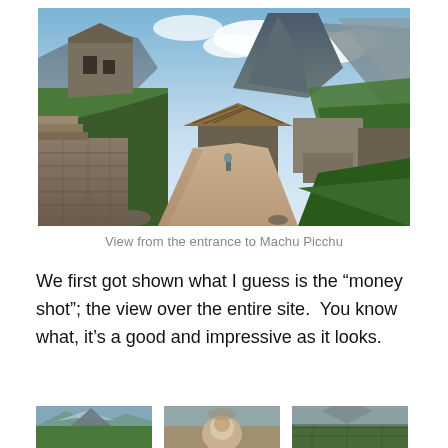[Figure (photo): View from the entrance to Machu Picchu: stone pathway with ancient Incan stone buildings on the left, a thatched-roof structure in the center, and dramatic mountain peaks in the background under a partly cloudy sky. A lone visitor walks the path.]
View from the entrance to Machu Picchu
We first got shown what I guess is the “money shot”; the view over the entire site.  You know what, it’s a good and impressive as it looks.
[Figure (photo): Three thumbnail photos of Machu Picchu partially visible at the bottom of the page.]